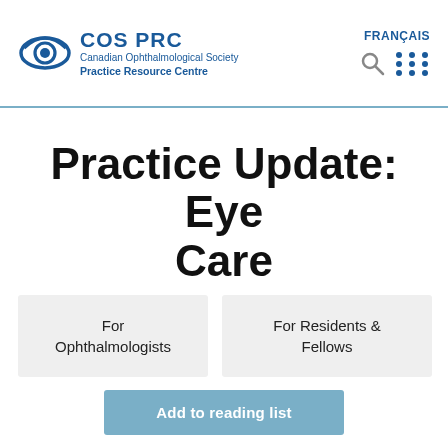COS PRC | Canadian Ophthalmological Society Practice Resource Centre | FRANÇAIS
Practice Update: Eye Care
For Ophthalmologists
For Residents & Fellows
Add to reading list